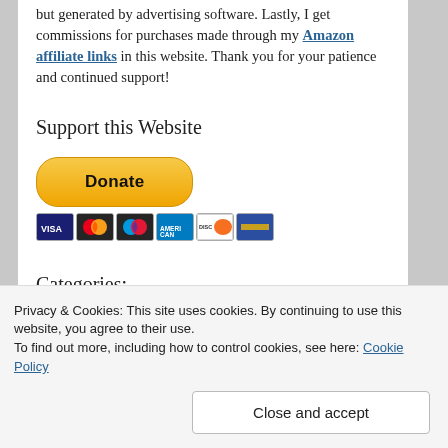but generated by advertising software. Lastly, I get commissions for purchases made through my Amazon affiliate links in this website. Thank you for your patience and continued support!
Support this Website
[Figure (other): PayPal Donate button with credit card icons (Visa, Mastercard, Maestro, American Express, Discover, and another card)]
Categories:
Privacy & Cookies: This site uses cookies. By continuing to use this website, you agree to their use. To find out more, including how to control cookies, see here: Cookie Policy
Close and accept